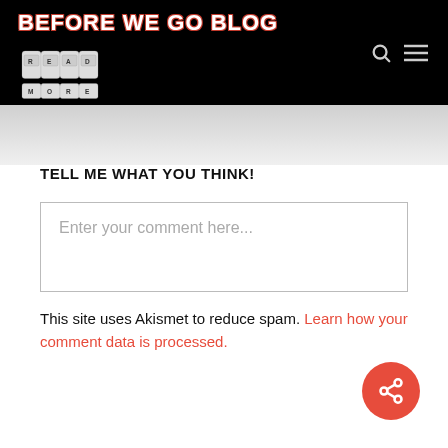BEFORE WE GO BLOG
[Figure (logo): Fists tattoo logo with letters R, E, A, D, M, O, R, E on knuckles, blog header image]
TELL ME WHAT YOU THINK!
Enter your comment here...
This site uses Akismet to reduce spam. Learn how your comment data is processed.